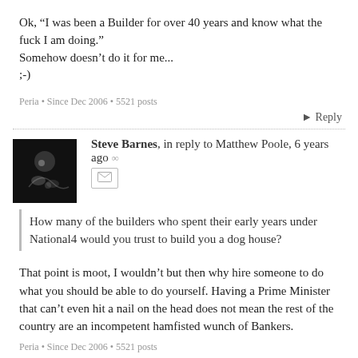Ok, “I was been a Builder for over 40 years and know what the fuck I am doing.” Somehow doesn’t do it for me...
;-)
Peria • Since Dec 2006 • 5521 posts
Reply
Steve Barnes, in reply to Matthew Poole, 6 years ago ∞
How many of the builders who spent their early years under National4 would you trust to build you a dog house?
That point is moot, I wouldn’t but then why hire someone to do what you should be able to do yourself. Having a Prime Minister that can’t even hit a nail on the head does not mean the rest of the country are an incompetent hamfisted wunch of Bankers.
Peria • Since Dec 2006 • 5521 posts